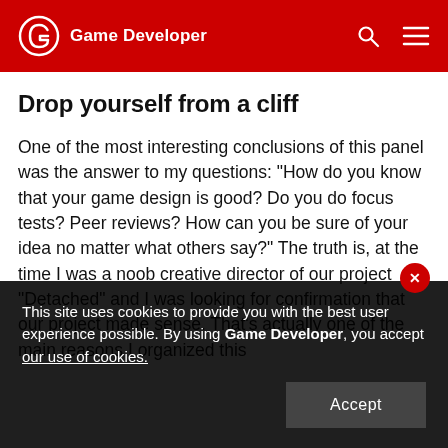Game Developer
Drop yourself from a cliff
One of the most interesting conclusions of this panel was the answer to my questions: "How do you know that your game design is good? Do you do focus tests? Peer reviews? How can you be sure of your idea no matter what others say?" The truth is, at the time I was a noob creative director of our project "Detached" and I was looking for confirmation that our project made sense. That's actually one of the main reasons I organized this
This site uses cookies to provide you with the best user experience possible. By using Game Developer, you accept our use of cookies.